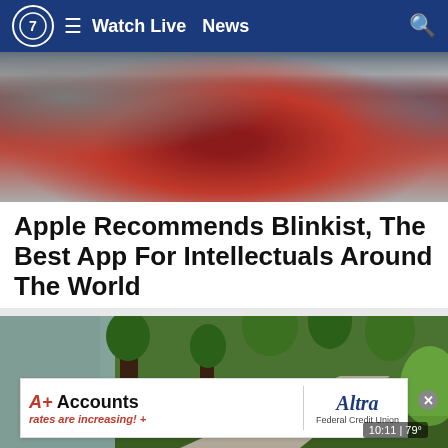Watch Live   News
[Figure (photo): Person in red hoodie with earbuds holding a device, blurred background with rocks]
Apple Recommends Blinkist, The Best App For Intellectuals Around The World
Blinkist Magazine | Sponsored
[Figure (photo): Person walking on a paved path through a green wooded area]
[Figure (other): Advertisement banner: A+ Accounts rates are increasing! | Altra Federal Credit Union]